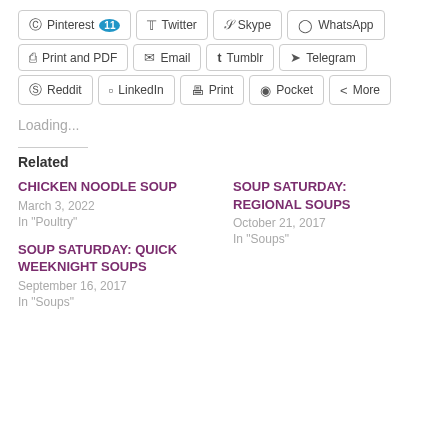[Figure (other): Social share buttons row 1: Pinterest (11), Twitter, Skype, WhatsApp]
[Figure (other): Social share buttons row 2: Print and PDF, Email, Tumblr, Telegram]
[Figure (other): Social share buttons row 3: Reddit, LinkedIn, Print, Pocket, More]
Loading...
Related
CHICKEN NOODLE SOUP
March 3, 2022
In "Poultry"
SOUP SATURDAY: REGIONAL SOUPS
October 21, 2017
In "Soups"
SOUP SATURDAY: QUICK WEEKNIGHT SOUPS
September 16, 2017
In "Soups"